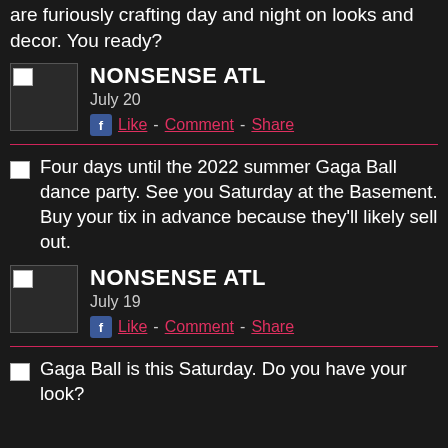are furiously crafting day and night on looks and decor. You ready?
NONSENSE ATL
July 20
Like - Comment - Share
Four days until the 2022 summer Gaga Ball dance party. See you Saturday at the Basement. Buy your tix in advance because they'll likely sell out.
NONSENSE ATL
July 19
Like - Comment - Share
Gaga Ball is this Saturday. Do you have your look?